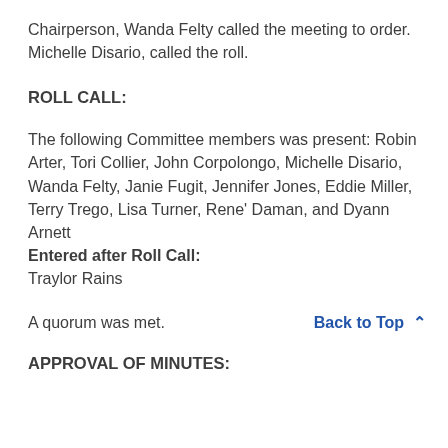Chairperson, Wanda Felty called the meeting to order. Michelle Disario, called the roll.
ROLL CALL:
The following Committee members was present: Robin Arter, Tori Collier, John Corpolongo, Michelle Disario, Wanda Felty, Janie Fugit, Jennifer Jones, Eddie Miller, Terry Trego, Lisa Turner, Rene' Daman, and Dyann Arnett
Entered after Roll Call:
Traylor Rains
A quorum was met.
APPROVAL OF MINUTES: